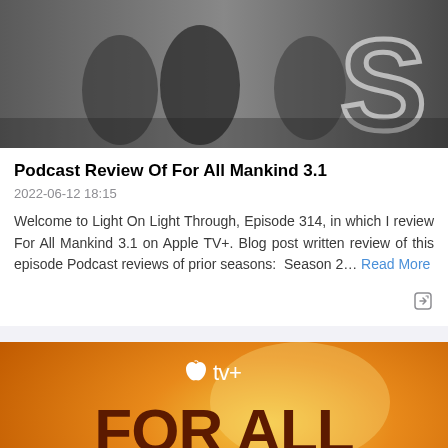[Figure (photo): Grayscale image of people in coats with large stylized number or text partially visible, appears to be a TV show promotional image]
Podcast Review Of For All Mankind 3.1
2022-06-12 18:15
Welcome to Light On Light Through, Episode 314, in which I review For All Mankind 3.1 on Apple TV+. Blog post written review of this episode Podcast reviews of prior seasons:  Season 2… Read More
[Figure (photo): Apple TV+ For All Mankind promotional image with orange and yellow gradient background, Apple TV+ logo at top, and large bold dark red text reading FOR ALL MANKIND]